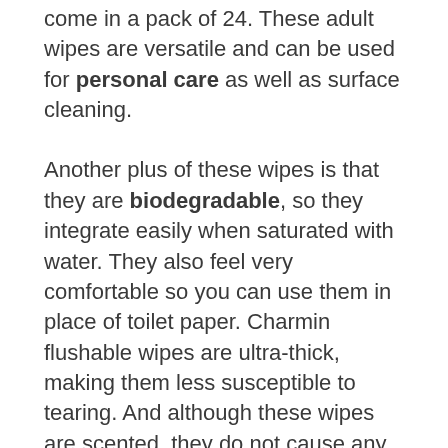come in a pack of 24. These adult wipes are versatile and can be used for personal care as well as surface cleaning.
Another plus of these wipes is that they are biodegradable, so they integrate easily when saturated with water. They also feel very comfortable so you can use them in place of toilet paper. Charmin flushable wipes are ultra-thick, making them less susceptible to tearing. And although these wipes are scented, they do not cause any irritation.